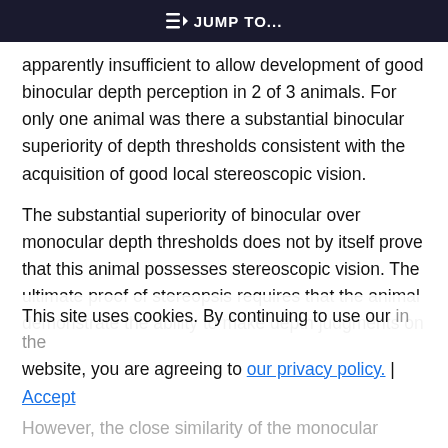JUMP TO...
apparently insufficient to allow development of good binocular depth perception in 2 of 3 animals. For only one animal was there a substantial binocular superiority of depth thresholds consistent with the acquisition of good local stereoscopic vision.
The substantial superiority of binocular over monocular depth thresholds does not by itself prove that this animal possesses stereoscopic vision. The ultimate proof of stereopsis requires that the animal demonstrate the ability to make depth judgments on
This site uses cookies. By continuing to use our website, you are agreeing to our privacy policy. Accept